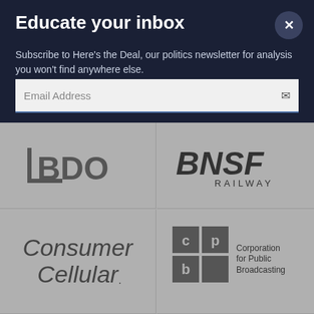Educate your inbox
Subscribe to Here's the Deal, our politics newsletter for analysis you won't find anywhere else.
Email Address
[Figure (logo): BDO logo in grey]
[Figure (logo): BNSF Railway logo in grey]
[Figure (logo): Consumer Cellular logo in grey]
[Figure (logo): cpb Corporation for Public Broadcasting logo in grey]
[Figure (logo): Fidelity logo partial in grey]
[Figure (logo): FRIENDS OF THE partial text in grey]